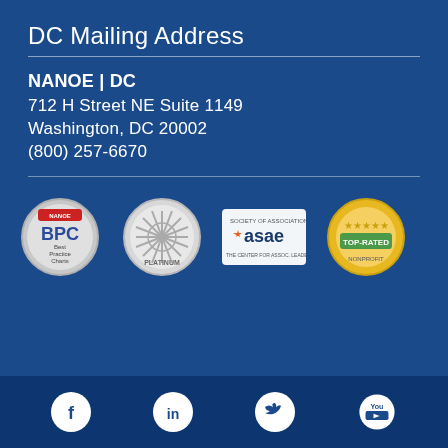DC Mailing Address
NANOE | DC
712 H Street NE Suite 1149
Washington, DC 20002
(800) 257-6670
[Figure (logo): Four certification/association badges: BPC Best Practice Charts (NANOE), Seal of Transparency Platinum, ASAE association logo, and a Top-Rated badge]
[Figure (infographic): Social media icons row: Facebook, LinkedIn, Twitter, YouTube]